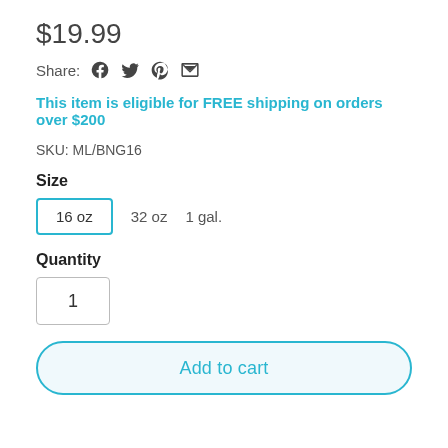$19.99
Share: [Facebook] [Twitter] [Pinterest] [Email]
This item is eligible for FREE shipping on orders over $200
SKU: ML/BNG16
Size
16 oz  32 oz  1 gal.
Quantity
1
Add to cart